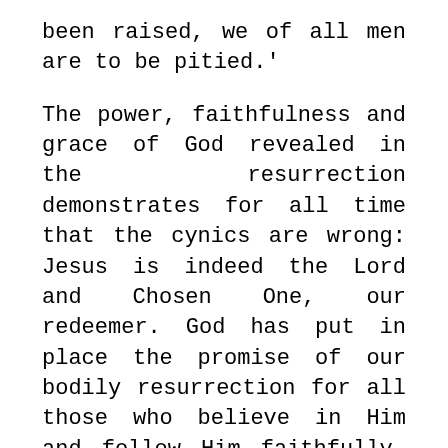been raised, we of all men are to be pitied.'
The power, faithfulness and grace of God revealed in the resurrection demonstrates for all time that the cynics are wrong: Jesus is indeed the Lord and Chosen One, our redeemer. God has put in place the promise of our bodily resurrection for all those who believe in Him and follow Him faithfully, not betraying that faith in Him.